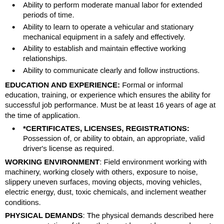Ability to perform moderate manual labor for extended periods of time.
Ability to learn to operate a vehicular and stationary mechanical equipment in a safely and effectively.
Ability to establish and maintain effective working relationships.
Ability to communicate clearly and follow instructions.
EDUCATION AND EXPERIENCE: Formal or informal education, training, or experience which ensures the ability for successful job performance. Must be at least 16 years of age at the time of application.
*CERTIFICATES, LICENSES, REGISTRATIONS: Possession of, or ability to obtain, an appropriate, valid driver's license as required.
WORKING ENVIRONMENT: Field environment working with machinery, working closely with others, exposure to noise, slippery uneven surfaces, moving objects, moving vehicles, electric energy, dust, toxic chemicals, and inclement weather conditions.
PHYSICAL DEMANDS: The physical demands described here are representative of those that must be met by an employee to successfully perform the essential functions of